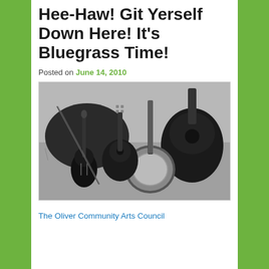Hee-Haw! Git Yerself Down Here! It's Bluegrass Time!
Posted on June 14, 2010
[Figure (photo): Black and white photograph of bluegrass instruments (fiddle, mandolin, banjo, guitar) laid on grass]
The Oliver Community Arts Council